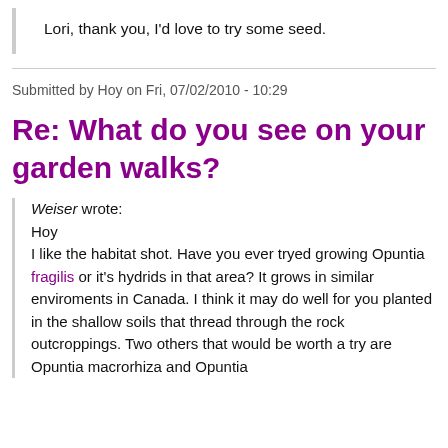Lori, thank you, I'd love to try some seed.
Submitted by Hoy on Fri, 07/02/2010 - 10:29
Re: What do you see on your garden walks?
Weiser wrote:
Hoy
I like the habitat shot. Have you ever tryed growing Opuntia fragilis or it's hydrids in that area? It grows in similar enviroments in Canada. I think it may do well for you planted in the shallow soils that thread through the rock outcroppings. Two others that would be worth a try are Opuntia macrorhiza and Opuntia